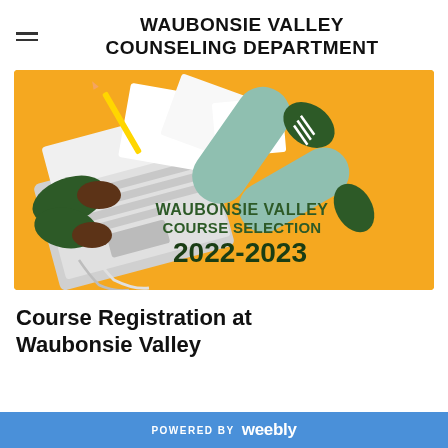WAUBONSIE VALLEY COUNSELING DEPARTMENT
[Figure (illustration): Flat-style illustration on an orange/golden background showing a top-down view of a student working on a laptop with papers scattered around, and a pair of legs in green pants with dark shoes. Text overlay reads: WAUBONSIE VALLEY COURSE SELECTION 2022-2023]
Course Registration at Waubonsie Valley
POWERED BY weebly